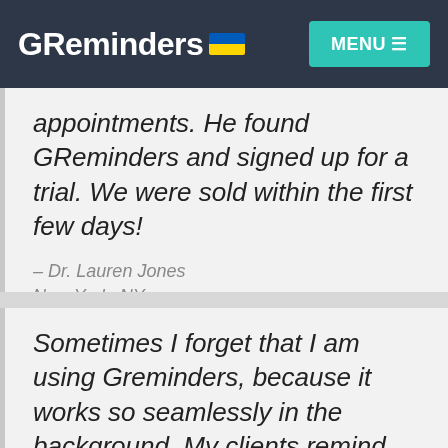GReminders MENU
appointments. He found GReminders and signed up for a trial. We were sold within the first few days!
– Dr. Lauren Jones
New York, NY
Sometimes I forget that I am using Greminders, because it works so seamlessly in the background. My clients remind me when they express